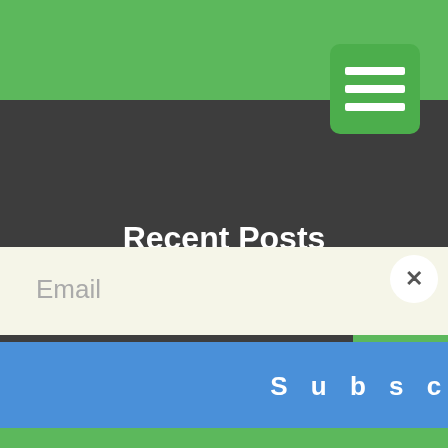Recent Posts
Greifenberg Emigration Records
Regenwalde Emigration Records
Lauenburg Emigration Records
Sütterlin and Kurrentschrift – Learn to Read Old German Script
Email
Subscribe